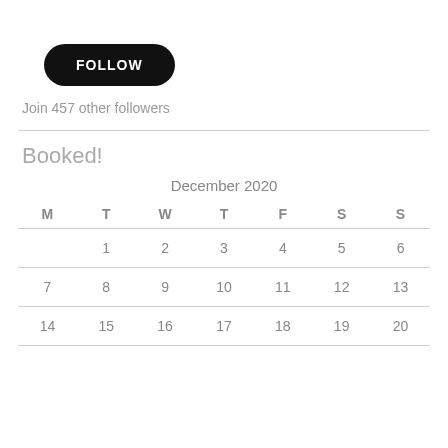[Figure (other): Black pill-shaped FOLLOW button]
Join 457 other followers
Booked!
| M | T | W | T | F | S | S |
| --- | --- | --- | --- | --- | --- | --- |
|  | 1 | 2 | 3 | 4 | 5 | 6 |
| 7 | 8 | 9 | 10 | 11 | 12 | 13 |
| 14 | 15 | 16 | 17 | 18 | 19 | 20 |